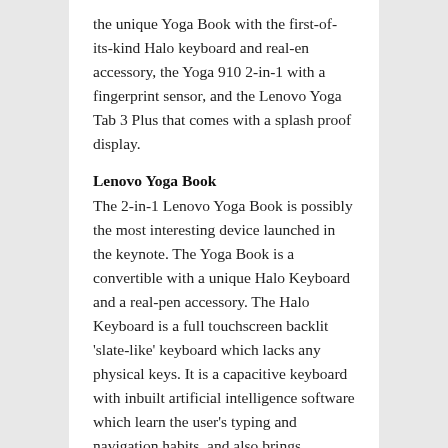the unique Yoga Book with the first-of-its-kind Halo keyboard and real-en accessory, the Yoga 910 2-in-1 with a fingerprint sensor, and the Lenovo Yoga Tab 3 Plus that comes with a splash proof display.
Lenovo Yoga Book
The 2-in-1 Lenovo Yoga Book is possibly the most interesting device launched in the keynote. The Yoga Book is a convertible with a unique Halo Keyboard and a real-pen accessory. The Halo Keyboard is a full touchscreen backlit 'slate-like' keyboard which lacks any physical keys. It is a capacitive keyboard with inbuilt artificial intelligence software which learn the user's typing and navigation habits, and also brings predictive typing. Then there's the real-pen accessory which draws on the halo keyboard just like a real pen. The biggest highlight of this pen is that it never needs charging